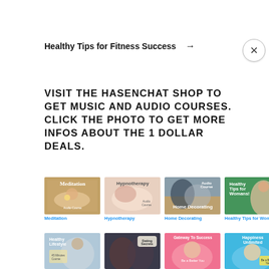Healthy Tips for Fitness Success →
VISIT THE HASENCHAT SHOP TO GET MUSIC AND AUDIO COURSES. CLICK THE PHOTO TO GET MORE INFOS ABOUT THE 1 DOLLAR DEALS.
[Figure (photo): Grid of audio course book covers: Meditation, Hypnotherapy, Home Decorating, Healthy Tips for Womans (top row); Healthy Lifestyle, Dating Secrets, Gateway To Success, Happiness Unlimited (bottom row, partially visible)]
Meditation
Hypnotherapy
Home Decorating
Healthy Tips for Womans